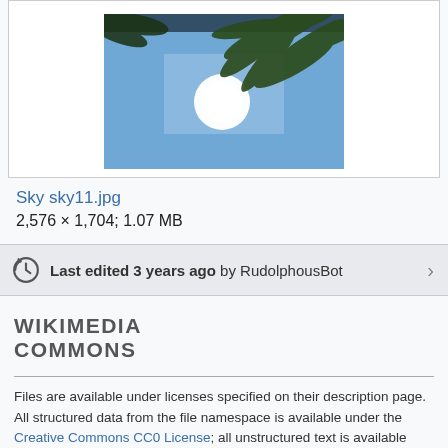[Figure (photo): Photo of palm tree leaves against a bright sky with sun visible, viewed from below]
Sky sky11.jpg
2,576 × 1,704; 1.07 MB
Last edited 3 years ago by RudolphousBot
WIKIMEDIA COMMONS
Files are available under licenses specified on their description page. All structured data from the file namespace is available under the Creative Commons CC0 License; all unstructured text is available under the Creative Commons Attribution-ShareAlike